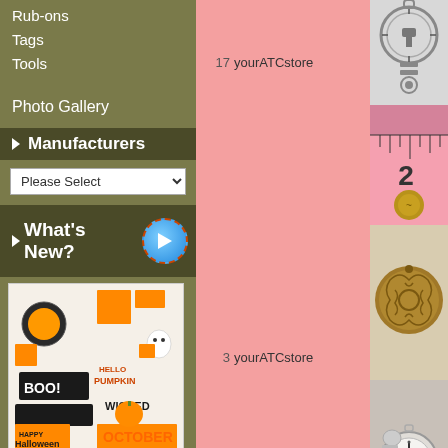Rub-ons
Tags
Tools
Photo Gallery
Manufacturers
What's New?
[Figure (photo): Halloween scrapbooking sticker sheet with BOO, October, Wicked, Hello Pumpkin and other Halloween themed elements]
Simples Stories Vintage October 31st Bits & Pieces $5.41
17   yourATCstore
3   yourATCstore
36   yourATCstore
4   yourATCstore
[Figure (photo): Metal toggle clasp charm]
[Figure (photo): Pink ruler showing measurement 2]
[Figure (photo): Ornate bronze coin charm with octopus design]
[Figure (photo): Silver alarm clock charm pendant]
[Figure (photo): Pink ruler showing measurement 7]
[Figure (photo): Metal charm or pendant at bottom]